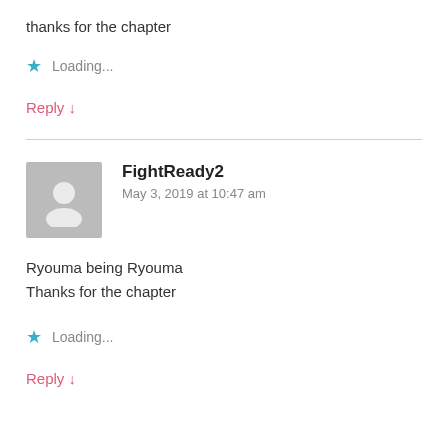thanks for the chapter
Loading...
Reply ↓
FightReady2
May 3, 2019 at 10:47 am
Ryouma being Ryouma
Thanks for the chapter
Loading...
Reply ↓